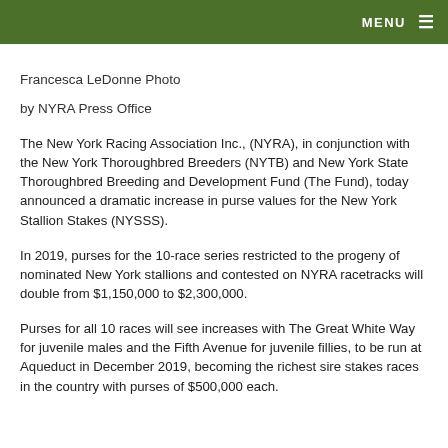MENU ≡
Francesca LeDonne Photo
by NYRA Press Office
The New York Racing Association Inc., (NYRA), in conjunction with the New York Thoroughbred Breeders (NYTB) and New York State Thoroughbred Breeding and Development Fund (The Fund), today announced a dramatic increase in purse values for the New York Stallion Stakes (NYSSS).
In 2019, purses for the 10-race series restricted to the progeny of nominated New York stallions and contested on NYRA racetracks will double from $1,150,000 to $2,300,000.
Purses for all 10 races will see increases with The Great White Way for juvenile males and the Fifth Avenue for juvenile fillies, to be run at Aqueduct in December 2019, becoming the richest sire stakes races in the country with purses of $500,000 each.